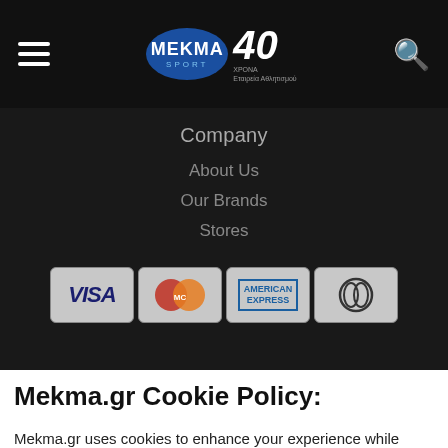MEKMA SPORT - 40 XRONIA
Company
About Us
Our Brands
Stores
[Figure (other): Payment method icons: VISA, MasterCard, American Express, Diners Club]
Mekma.gr Cookie Policy:
Mekma.gr uses cookies to enhance your experience while visiting our eshop. By continuing usage of our website, you agree to our Cookie Policy.
More Information
Accept